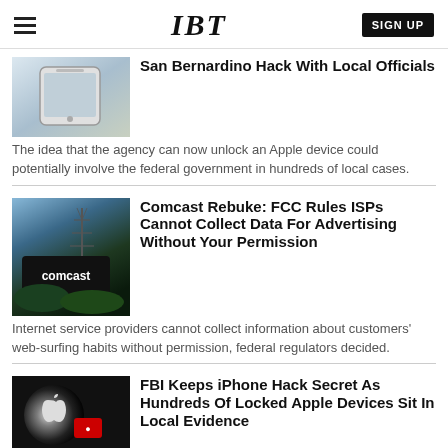IBT  SIGN UP
[Figure (photo): Hand holding an iPhone/Apple device]
San Bernardino Hack With Local Officials
The idea that the agency can now unlock an Apple device could potentially involve the federal government in hundreds of local cases.
[Figure (photo): Comcast sign with transmission towers in background]
Comcast Rebuke: FCC Rules ISPs Cannot Collect Data For Advertising Without Your Permission
Internet service providers cannot collect information about customers' web-surfing habits without permission, federal regulators decided.
[Figure (photo): Apple logo lit up in dark background with red badge]
FBI Keeps iPhone Hack Secret As Hundreds Of Locked Apple Devices Sit In Local Evidence